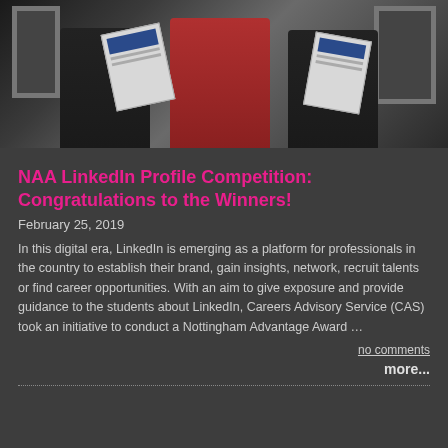[Figure (photo): Three people standing together holding certificates/awards, smiling at camera. Dark background with frames on wall.]
NAA LinkedIn Profile Competition: Congratulations to the Winners!
February 25, 2019
In this digital era, LinkedIn is emerging as a platform for professionals in the country to establish their brand, gain insights, network, recruit talents or find career opportunities. With an aim to give exposure and provide guidance to the students about LinkedIn, Careers Advisory Service (CAS) took an initiative to conduct a Nottingham Advantage Award …
no comments
more...